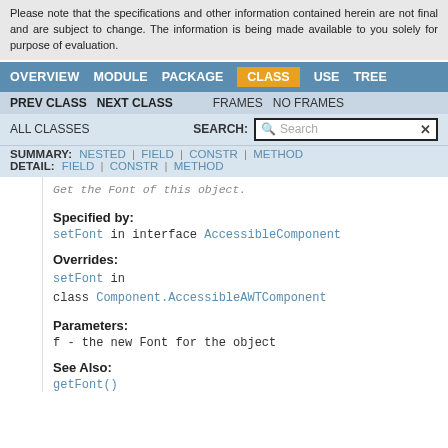Please note that the specifications and other information contained herein are not final and are subject to change. The information is being made available to you solely for purpose of evaluation.
OVERVIEW  MODULE  PACKAGE  CLASS  USE  TREE
PREV CLASS  NEXT CLASS  FRAMES  NO FRAMES
ALL CLASSES  SEARCH:
SUMMARY: NESTED | FIELD | CONSTR | METHOD  DETAIL: FIELD | CONSTR | METHOD
Get the Font of this object.
Specified by:
setFont in interface AccessibleComponent
Overrides:
setFont in class Component.AccessibleAWTComponent
Parameters:
f - the new Font for the object
See Also:
getFont()